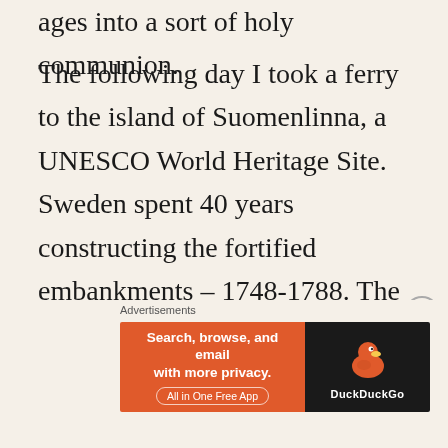ages into a sort of holy communion.
The following day I took a ferry to the island of Suomenlinna, a UNESCO World Heritage Site. Sweden spent 40 years constructing the fortified embankments – 1748-1788. The stone fortress  and the hidden harbors defended Helsinki's own harbor into WWII. Across the bridge from Artillery Bay Quay I heard a violin but I was on a mission to find the warships on the Dry Dock. Two great wooden boats rested on
Advertisements
[Figure (other): DuckDuckGo advertisement banner: 'Search, browse, and email with more privacy. All in One Free App' on orange background with DuckDuckGo logo on dark background]